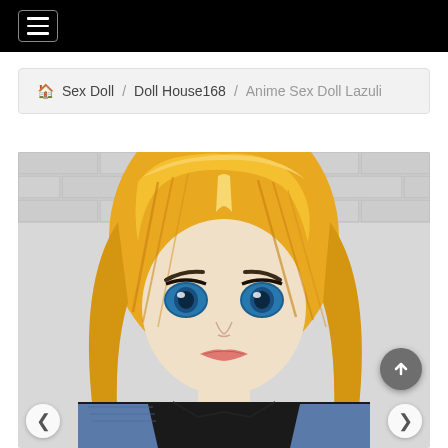Navigation menu (hamburger icon)
🏠Sex Doll / Doll House168 / Anime Sex Doll Lazuli
[Figure (photo): Close-up photo of an anime-style sex doll named Lazuli with golden/blonde hair, blue eyes, pale skin, wearing a black shirt and denim vest jacket, set against a white brick wall background]